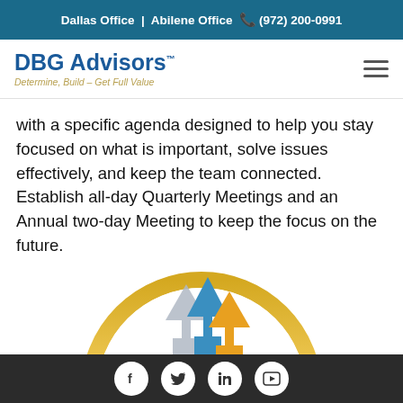Dallas Office  |  Abilene Office  ☎ (972) 200-0991
[Figure (logo): DBG Advisors logo with tagline 'Determine, Build – Get Full Value']
with a specific agenda designed to help you stay focused on what is important, solve issues effectively, and keep the team connected. Establish all-day Quarterly Meetings and an Annual two-day Meeting to keep the focus on the future.
[Figure (illustration): A gold-bordered circle containing upward arrows (gray, blue, orange/yellow) representing growth, partially visible at bottom of page]
Social media icons: Facebook, Twitter, LinkedIn, YouTube